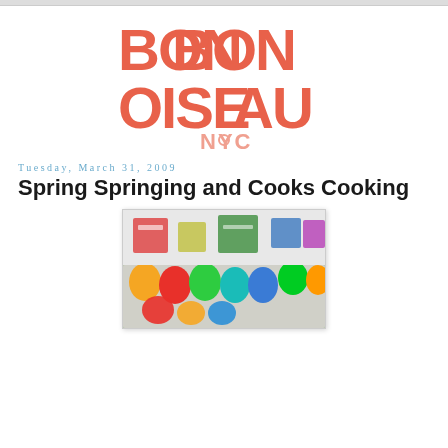[Figure (logo): Bon Bon Oiseau NYC logo in coral/salmon red lettering, large stylized block letters]
Tuesday, March 31, 2009
Spring Springing and Cooks Cooking
[Figure (photo): Colorful dyed Easter eggs in an egg carton, vibrant colors including red, green, orange, teal, blue]